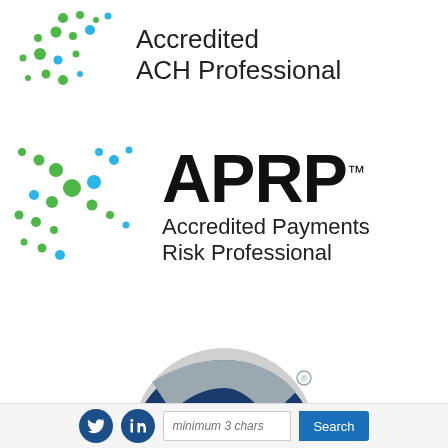[Figure (logo): AAP - Accredited ACH Professional logo with green and blue dot cluster pattern and text]
[Figure (logo): APRP - Accredited Payments Risk Professional logo with green and blue dot cluster pattern and large APRP text]
[Figure (logo): NCP - Nacha Certified Payments Professional circular badge logo in dark blue and grey]
[Figure (screenshot): Footer bar with Twitter and LinkedIn social icons, a search input field with placeholder 'minimum 3 chars', and a blue Search button]